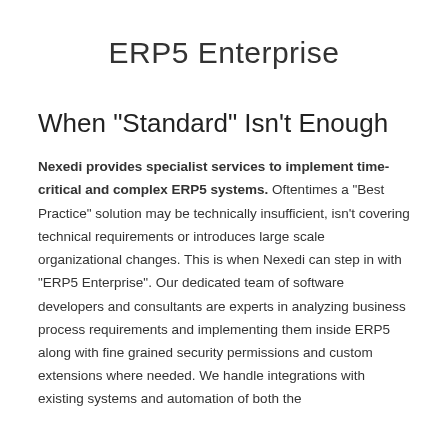ERP5 Enterprise
When "Standard" Isn't Enough
Nexedi provides specialist services to implement time-critical and complex ERP5 systems. Oftentimes a "Best Practice" solution may be technically insufficient, isn't covering technical requirements or introduces large scale organizational changes. This is when Nexedi can step in with "ERP5 Enterprise". Our dedicated team of software developers and consultants are experts in analyzing business process requirements and implementing them inside ERP5 along with fine grained security permissions and custom extensions where needed. We handle integrations with existing systems and automation of both the